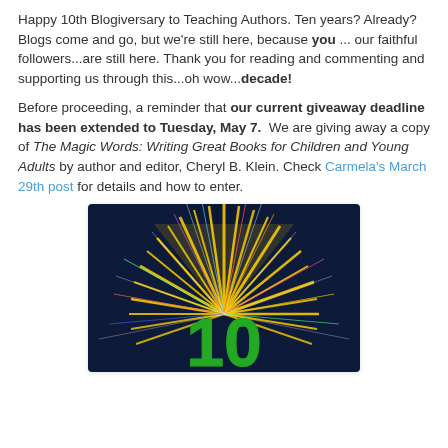Happy 10th Blogiversary to Teaching Authors. Ten years? Already? Blogs come and go, but we're still here, because you ... our faithful followers...are still here. Thank you for reading and commenting and supporting us through this...oh wow...decade!
Before proceeding, a reminder that our current giveaway deadline has been extended to Tuesday, May 7. We are giving away a copy of The Magic Words: Writing Great Books for Children and Young Adults by author and editor, Cheryl B. Klein. Check Carmela's March 29th post for details and how to enter.
[Figure (illustration): Celebratory image with dark blue/navy background showing an explosion of colorful fireworks or light rays in yellow, green, and multicolored streaks, with a large green number '10' in the center, representing a 10th anniversary.]